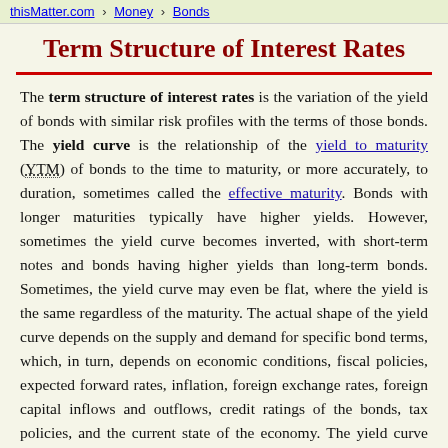thisMatter.com › Money › Bonds
Term Structure of Interest Rates
The term structure of interest rates is the variation of the yield of bonds with similar risk profiles with the terms of those bonds. The yield curve is the relationship of the yield to maturity (YTM) of bonds to the time to maturity, or more accurately, to duration, sometimes called the effective maturity. Bonds with longer maturities typically have higher yields. However, sometimes the yield curve becomes inverted, with short-term notes and bonds having higher yields than long-term bonds. Sometimes, the yield curve may even be flat, where the yield is the same regardless of the maturity. The actual shape of the yield curve depends on the supply and demand for specific bond terms, which, in turn, depends on economic conditions, fiscal policies, expected forward rates, inflation, foreign exchange rates, foreign capital inflows and outflows, credit ratings of the bonds, tax policies, and the current state of the economy. The yield curve changes because a component of the supply and demand for short-term, medium-term, and long-term bonds